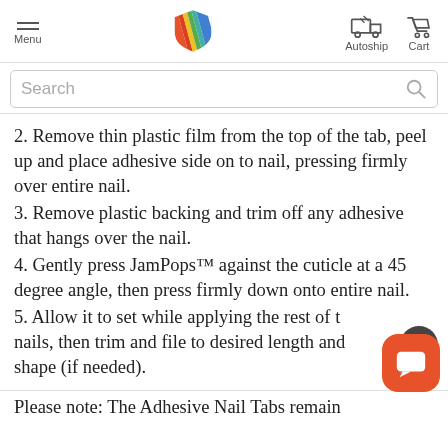Menu | [Logo] | Autoship | Cart
[Figure (screenshot): Search bar with magnifying glass icon]
2. Remove thin plastic film from the top of the tab, peel up and place adhesive side on to nail, pressing firmly over entire nail.
3. Remove plastic backing and trim off any adhesive that hangs over the nail.
4. Gently press JamPops™ against the cuticle at a 45 degree angle, then press firmly down onto entire nail.
5. Allow it to set while applying the rest of the nails, then trim and file to desired length and shape (if needed).
Please note: The Adhesive Nail Tabs remain